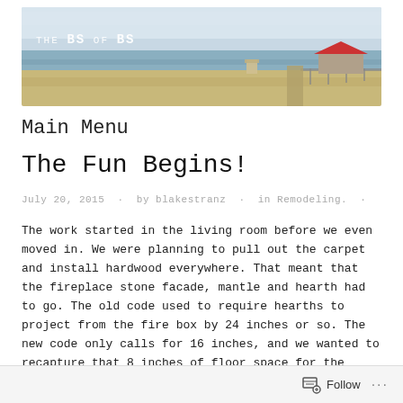[Figure (photo): Beach scene banner image with ocean, sandy beach, and a red-roofed building in the distance. Overlay text reads 'THE BS OF BS' in monospace font.]
Main Menu
The Fun Begins!
July 20, 2015 · by blakestranz · in Remodeling. ·
The work started in the living room before we even moved in. We were planning to pull out the carpet and install hardwood everywhere. That meant that the fireplace stone facade, mantle and hearth had to go. The old code used to require hearths to project from the fire box by 24 inches or so. The new code only calls for 16 inches, and we wanted to recapture that 8 inches of floor space for the hardwood.
Follow ···